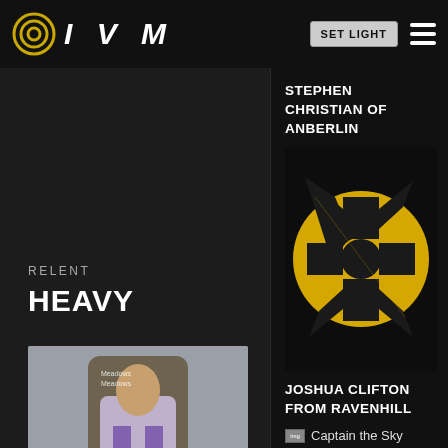IVM
SET LIGHT
RELENT
HEAVY
[Figure (photo): Album cover photo showing a person seated on an ornate chair, wearing a white outfit with purple accents, text 'Meadows Meadows' visible]
STEPHEN CHRISTIAN OF ANBERLIN
[Figure (logo): Ravenhill logo - circular radioactive symbol in yellow/black with 'RAVENHILL' text across center]
JOSHUA CLIFTON FROM RAVENHILL
Captain the Sky